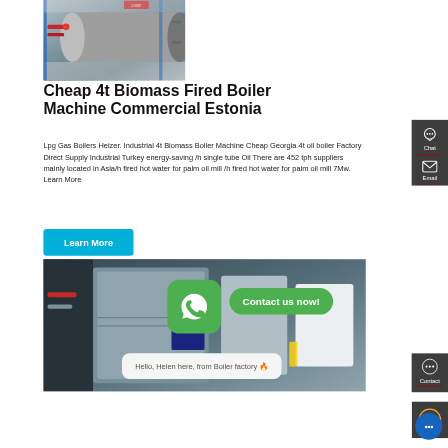[Figure (photo): Industrial boiler equipment in a factory setting — large cylindrical horizontal boilers with pipes, valves and blue structural framing in background]
Cheap 4t Biomass Fired Boiler Machine Commercial Estonia
Lpg Gas Boilers Heizer. Industrial 4t Biomass Boiler Machine Cheap Georgia 4t oil boiler Factory Direct Supply Industrial Turkey energy-saving /h single tube Oil There are 452 tph suppliers mainly located in Asia/h fired hot water for palm oil mill /h fired hot water for palm oil mill 7Mw. Learn More
[Figure (photo): Industrial boiler installation inside a factory — dark blue boiler unit with piping, cables and yellow-marked equipment in background. WhatsApp icon and Contact us now button overlaid. Helen chat bubble visible.]